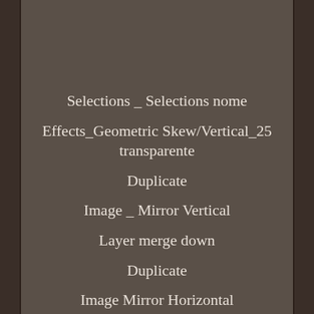Selections _ Selections nome
Effects_Geometric Skew/Vertical_25 transparente
Duplicate
Image _ Mirror Vertical
Layer merge down
Duplicate
Image Mirror Horizontal